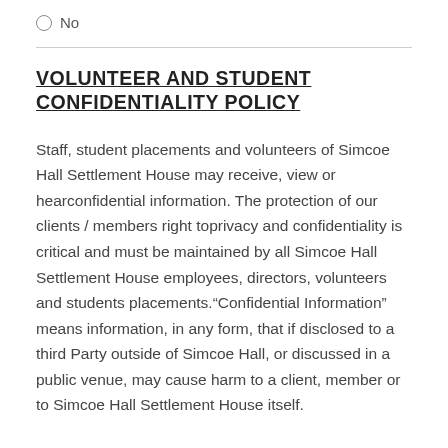No
VOLUNTEER AND STUDENT CONFIDENTIALITY POLICY
Staff, student placements and volunteers of Simcoe Hall Settlement House may receive, view or hearconfidential information. The protection of our clients / members right toprivacy and confidentiality is critical and must be maintained by all Simcoe Hall Settlement House employees, directors, volunteers and students placements.“Confidential Information” means information, in any form, that if disclosed to a third Party outside of Simcoe Hall, or discussed in a public venue, may cause harm to a client, member or to Simcoe Hall Settlement House itself.